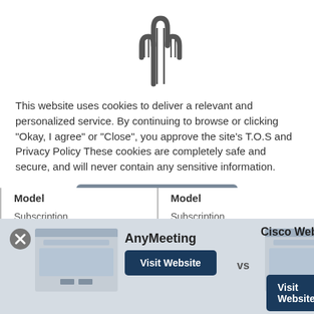[Figure (illustration): Cactus icon outline, centered at top of page]
This website uses cookies to deliver a relevant and personalized service. By continuing to browse or clicking "Okay, I agree" or "Close", you approve the site's T.O.S and Privacy Policy These cookies are completely safe and secure, and will never contain any sensitive information.
[Figure (screenshot): Accept cookies button (rounded grey rectangle)]
| Model | Model |
| --- | --- |
| Subscription | Subscription |
| Starting   $0 / | Starting   $0 / |
| From | From |
[Figure (screenshot): Bottom comparison bar showing AnyMeeting vs Cisco WebEx with thumbnails and Visit Website buttons, on grey background]